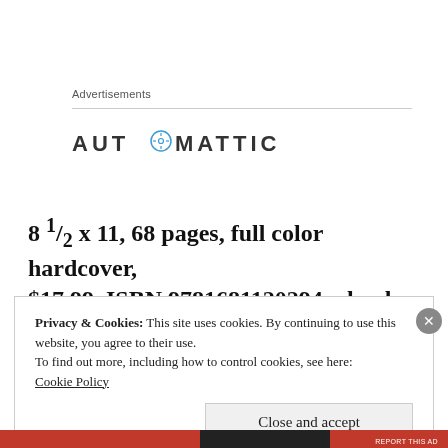Advertisements
[Figure (logo): Automattic logo with compass icon in lettermark style, all caps sans-serif lettering]
8 ½ x 11, 68 pages, full color hardcover, $17.99, ISBN 9781681120294 e-book $9.99
Privacy & Cookies: This site uses cookies. By continuing to use this website, you agree to their use.
To find out more, including how to control cookies, see here:
Cookie Policy
Close and accept